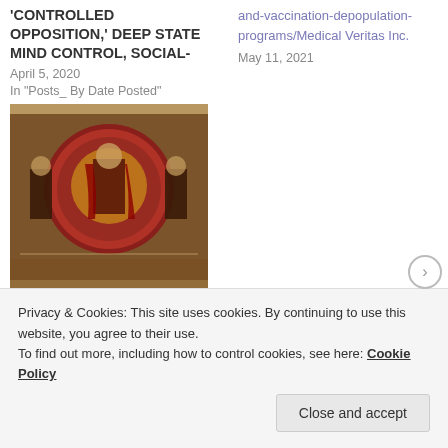'CONTROLLED OPPOSITION,' DEEP STATE MIND CONTROL, SOCIAL-
April 5, 2020
In "Posts_ By Date Posted"
[Figure (photo): Religious icon painting showing a central figure surrounded by other figures in a circular composition with red and gold tones]
Exposing Lame Anti-Vax Activists Reblogged from source @ https://exposingvaccinegen ocide.org/exposing-lame-
and-vaccination-depopulation-programs/Medical Veritas Inc.
May 11, 2021
Privacy & Cookies: This site uses cookies. By continuing to use this website, you agree to their use.
To find out more, including how to control cookies, see here: Cookie Policy